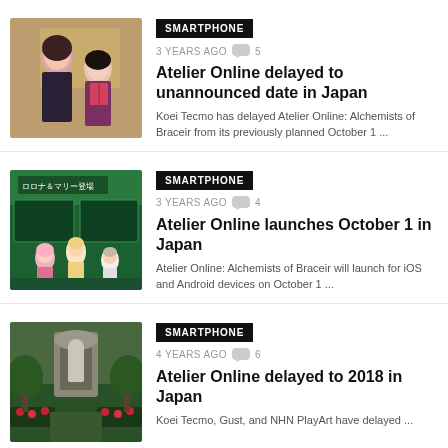[Figure (illustration): Anime art thumbnail showing two characters]
SMARTPHONE
3 YEARS AGO  5
Atelier Online delayed to unannounced date in Japan
Koei Tecmo has delayed Atelier Online: Alchemists of Braceir from its previously planned October 1 ...
[Figure (screenshot): Game screenshot showing ロロナ＆マリー登場 with anime RPG characters]
SMARTPHONE
3 YEARS AGO  4
Atelier Online launches October 1 in Japan
Atelier Online: Alchemists of Braceir will launch for iOS and Android devices on October 1 ...
[Figure (screenshot): Game screenshot showing a garden or outdoor scene with a statue]
SMARTPHONE
4 YEARS AGO  6
Atelier Online delayed to 2018 in Japan
Koei Tecmo, Gust, and NHN PlayArt have delayed ...